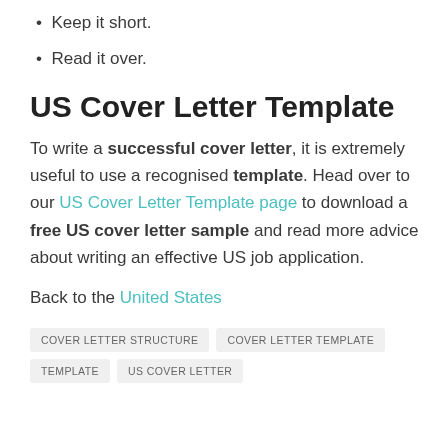Keep it short.
Read it over.
US Cover Letter Template
To write a successful cover letter, it is extremely useful to use a recognised template. Head over to our US Cover Letter Template page to download a free US cover letter sample and read more advice about writing an effective US job application.
Back to the United States
COVER LETTER STRUCTURE   COVER LETTER TEMPLATE   TEMPLATE   US COVER LETTER